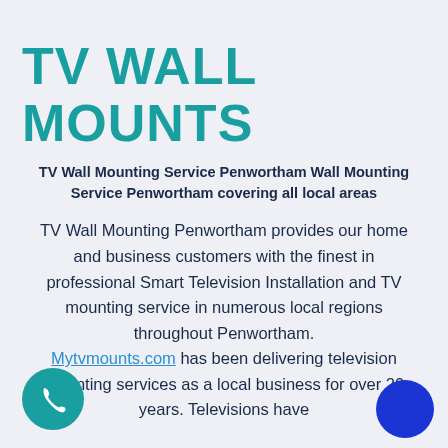TV WALL MOUNTS
TV Wall Mounting Service Penwortham Wall Mounting Service Penwortham covering all local areas
TV Wall Mounting Penwortham provides our home and business customers with the finest in professional Smart Television Installation and TV mounting service in numerous local regions throughout Penwortham. Mytvmounts.com has been delivering television mounting services as a local business for over 20 years. Televisions have